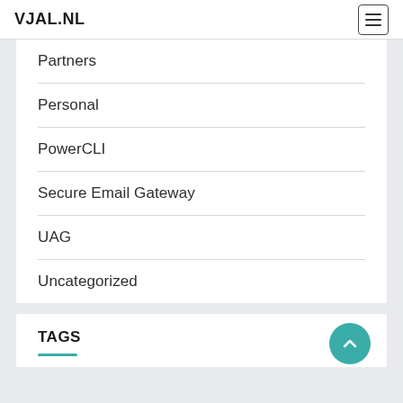VJAL.NL
Partners
Personal
PowerCLI
Secure Email Gateway
UAG
Uncategorized
TAGS